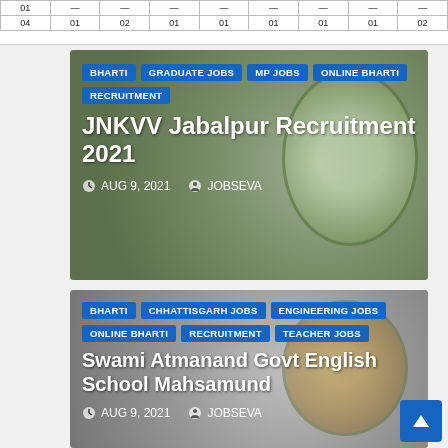[Figure (table-as-image): Partial table with numbers: row with dashes and 01 values, row with 04 01 02 01 01 01 01 01 02]
[Figure (photo): JNKVV Jabalpur university seal/logo on green background]
BHARTI
GRADUATE JOBS
MP JOBS
ONLINE BHARTI
RECRUITMENT
JNKVV Jabalpur Recruitment 2021
AUG 9, 2021   JOBSEVA
[Figure (photo): Swami Atmanand Govt English School Mahsamund institutional seal on grey background]
BHARTI
CHHATTISGARH JOBS
ENGINEERING JOBS
ONLINE BHARTI
RECRUITMENT
TEACHER JOBS
Swami Atmanand Govt English School Mahsamund
AUG 9, 2021   JOBSEVA